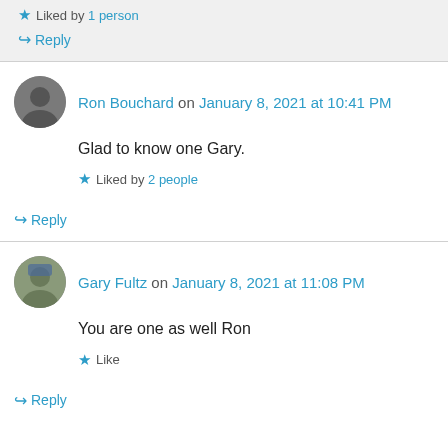Liked by 1 person
↪ Reply
Ron Bouchard on January 8, 2021 at 10:41 PM
Glad to know one Gary.
Liked by 2 people
↪ Reply
Gary Fultz on January 8, 2021 at 11:08 PM
You are one as well Ron
Like
↪ Reply